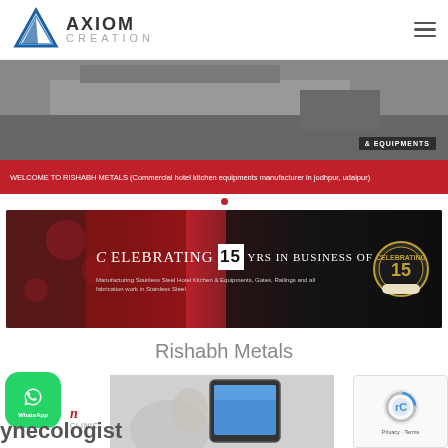[Figure (logo): Axiom Creation logo with blue triangle and text AXIOM CREATION]
[Figure (photo): Commercial hotel kitchen equipment banner with text & EQUIPMENTS]
WELCOME TO RISHABH METALS (Commercial hotel kitchen equipments manufacturer in jodhpur, udaipur)
[Figure (photo): Banner celebrating 15 years in business of Manufacturing Stainless Steel Hotel Kitchen & Equipments, Gates, Railings and all fabrication work in Stainless Steel]
Rishabh Metals
[Figure (screenshot): Mobile app screenshot showing a hand holding a phone with medical app]
[Figure (logo): WhatsApp button widget]
[Figure (other): reCAPTCHA widget with Privacy and Terms]
ynecologist